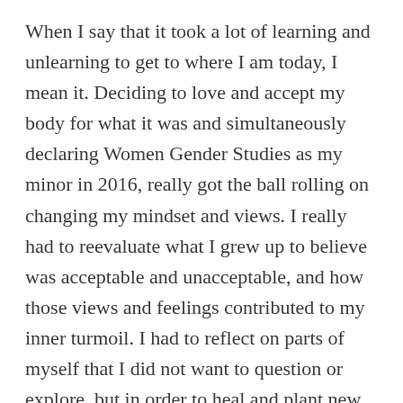When I say that it took a lot of learning and unlearning to get to where I am today, I mean it. Deciding to love and accept my body for what it was and simultaneously declaring Women Gender Studies as my minor in 2016, really got the ball rolling on changing my mindset and views. I really had to reevaluate what I grew up to believe was acceptable and unacceptable, and how those views and feelings contributed to my inner turmoil. I had to reflect on parts of myself that I did not want to question or explore, but in order to heal and plant new seeds of thinking, I had to pull at the ugly roots that had planted in me so long ago. The Women Gender Studies classes I was taking at the time really opened my eyes to see that these ways of thinking in terms of beauty and beauty standards, are engrained specifically into the female mind at a